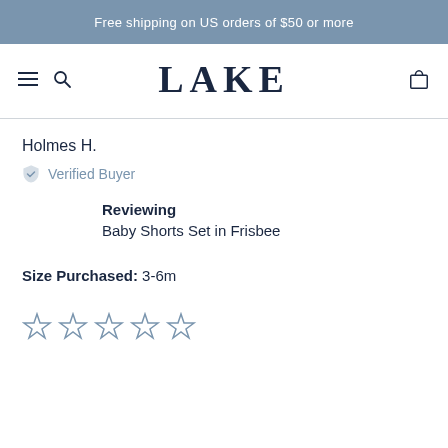Free shipping on US orders of $50 or more
[Figure (logo): LAKE brand logo with hamburger menu, search icon, and cart icon navigation]
Holmes H.
Verified Buyer
Reviewing
Baby Shorts Set in Frisbee
Size Purchased: 3-6m